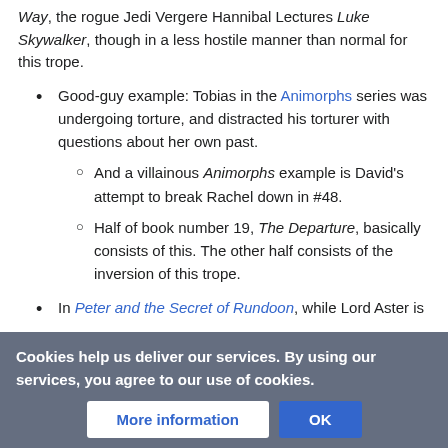Way, the rogue Jedi Vergere Hannibal Lectures Luke Skywalker, though in a less hostile manner than normal for this trope.
Good-guy example: Tobias in the Animorphs series was undergoing torture, and distracted his torturer with questions about her own past.
And a villainous Animorphs example is David's attempt to break Rachel down in #48.
Half of book number 19, The Departure, basically consists of this. The other half consists of the inversion of this trope.
In Peter and the Secret of Rundoon, while Lord Aster is lecturing the captured Order, he also goes on long lectures on how stupid the human race is and how even the seeming... observient to him.
Cookies help us deliver our services. By using our services, you agree to our use of cookies.